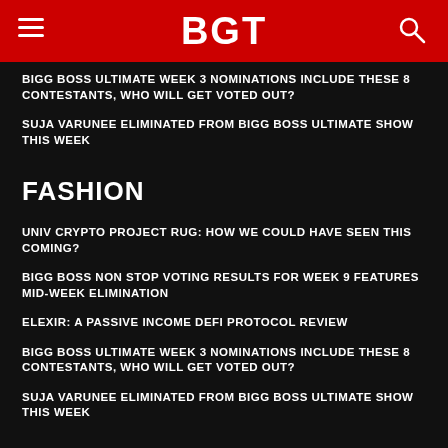BGT
BIGG BOSS ULTIMATE WEEK 3 NOMINATIONS INCLUDE THESE 8 CONTESTANTS, WHO WILL GET VOTED OUT?
SUJA VARUNEE ELIMINATED FROM BIGG BOSS ULTIMATE SHOW THIS WEEK
FASHION
UNIV CRYPTO PROJECT RUG: HOW WE COULD HAVE SEEN THIS COMING?
BIGG BOSS NON STOP VOTING RESULTS FOR WEEK 9 FEATURES MID-WEEK ELIMINATION
ELEXIR: A PASSIVE INCOME DEFI PROTOCOL REVIEW
BIGG BOSS ULTIMATE WEEK 3 NOMINATIONS INCLUDE THESE 8 CONTESTANTS, WHO WILL GET VOTED OUT?
SUJA VARUNEE ELIMINATED FROM BIGG BOSS ULTIMATE SHOW THIS WEEK
STAY IN TOUCH